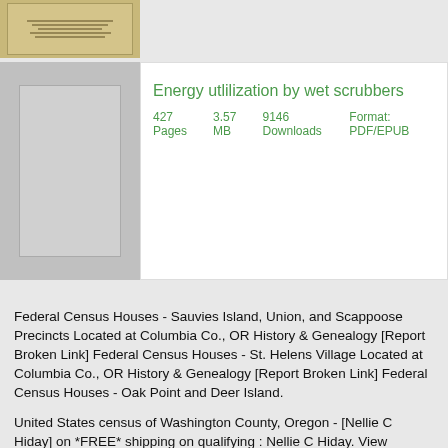[Figure (illustration): Small thumbnail image of a document with tan/brown background at top left]
Energy utlilization by wet scrubbers
427 Pages    3.57 MB    9146 Downloads    Format: PDF/EPUB
Federal Census Houses - Sauvies Island, Union, and Scappoose Precincts Located at Columbia Co., OR History & Genealogy [Report Broken Link] Federal Census Houses - St. Helens Village Located at Columbia Co., OR History & Genealogy [Report Broken Link] Federal Census Houses - Oak Point and Deer Island.
United States census of Washington County, Oregon - [Nellie C Hiday] on *FREE* shipping on qualifying : Nellie C Hiday. View Images in this Collection Browse through images Citing this Collection "United States Census, " Database with images. FamilySearch. : 26 November Citing NARA microfilm publication T9.
Federal Census Washington County (Source: US GenWeb